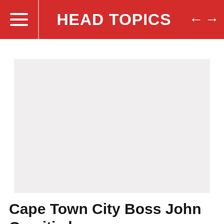HEAD TOPICS
[Figure (photo): Light grey placeholder image area]
Cape Town City Boss John Comitis has